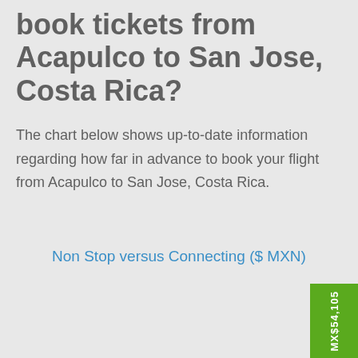book tickets from Acapulco to San Jose, Costa Rica?
The chart below shows up-to-date information regarding how far in advance to book your flight from Acapulco to San Jose, Costa Rica.
Non Stop versus Connecting ($ MXN)
[Figure (bar-chart): Partial bar chart showing MX$54,105 value, green bar visible at right edge]